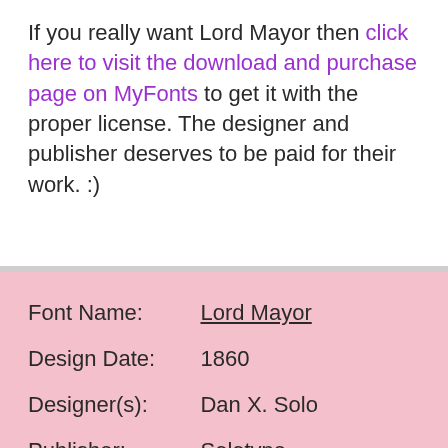If you really want Lord Mayor then click here to visit the download and purchase page on MyFonts to get it with the proper license. The designer and publisher deserves to be paid for their work. :)
| Label | Value |
| --- | --- |
| Font Name: | Lord Mayor |
| Design Date: | 1860 |
| Designer(s): | Dan X. Solo |
| Publisher: | Solotype |